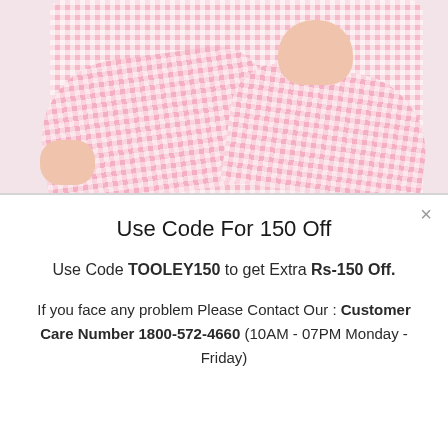[Figure (photo): Person wearing a pink gingham/checkered shirt with arms crossed, torso and arms visible]
Use Code For 150 Off
Use Code TOOLEY150 to get Extra Rs-150 Off.
If you face any problem Please Contact Our : Customer Care Number 1800-572-4660 (10AM - 07PM Monday - Friday)